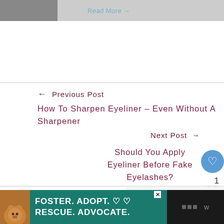[Figure (photo): Thumbnail image at top left with a dark background]
Read More →
← Previous Post
How To Sharpen Eyeliner – Even Without A Sharpener
Next Post →
Should You Apply Eyeliner Before Fake Eyelashes?
› You Might Also Like
WHAT'S NEXT → How Long Should You...
[Figure (photo): Dark photo at bottom of page content area]
[Figure (photo): Advertisement banner: FOSTER. ADOPT. ♡ ♡ RESCUE. ADVOCATE. with dog image]